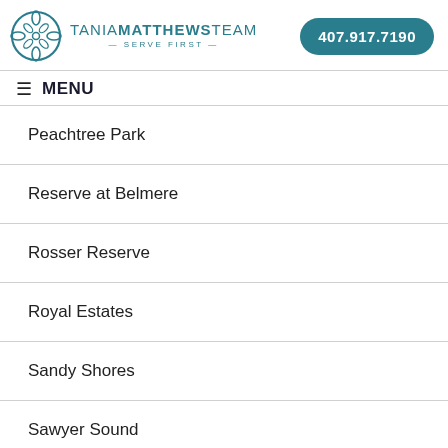[Figure (logo): Tania Matthews Team logo with circular compass icon and text 'TANIA MATTHEWS TEAM — SERVE FIRST —']
407.917.7190
≡ MENU
Peachtree Park
Reserve at Belmere
Rosser Reserve
Royal Estates
Sandy Shores
Sawyer Sound
Accessibility
Southern Acres